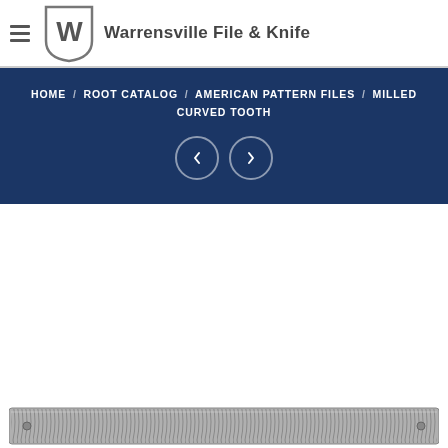[Figure (logo): Warrensville File & Knife logo with shield/W emblem and brand name]
HOME / ROOT CATALOG / AMERICAN PATTERN FILES / MILLED CURVED TOOTH
[Figure (photo): Milled curved tooth file product photo showing a flat metal file with curved teeth pattern]